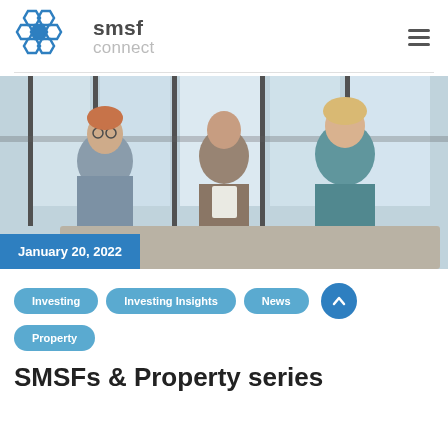[Figure (logo): SMSF Connect logo with hexagonal honeycomb icon in blue, text 'smsf' bold dark gray and 'connect' light gray]
[Figure (photo): Three business professionals in an office meeting room with large windows, two women and one man, discussing around a table]
January 20, 2022
Investing
Investing Insights
News
Property
SMSFs & Property series